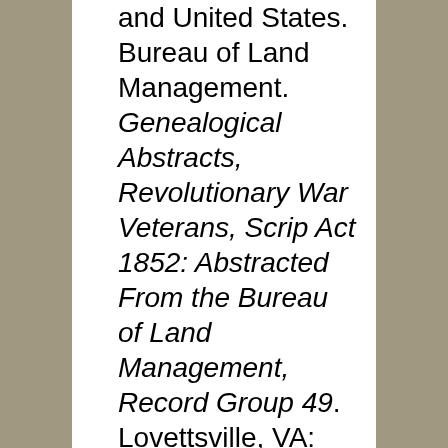and United States. Bureau of Land Management. Genealogical Abstracts, Revolutionary War Veterans, Scrip Act 1852: Abstracted From the Bureau of Land Management, Record Group 49. Lovettsville, VA: Willow Bend Books, 1997. Ref. CS 63 .B76 1997.
Clark, Murtie June. Index to U.S. Invalid Pension Records, 1801–1815.